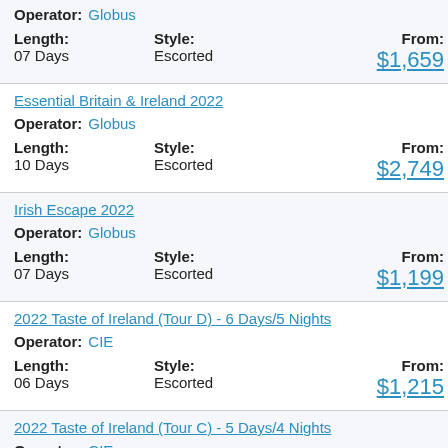Operator: Globus
Length: 07 Days  Style: Escorted  From: $1,659
Essential Britain & Ireland 2022
Operator: Globus
Length: 10 Days  Style: Escorted  From: $2,749
Irish Escape 2022
Operator: Globus
Length: 07 Days  Style: Escorted  From: $1,199
2022 Taste of Ireland (Tour D) - 6 Days/5 Nights
Operator: CIE
Length: 06 Days  Style: Escorted  From: $1,215
2022 Taste of Ireland (Tour C) - 5 Days/4 Nights
Operator: CIE